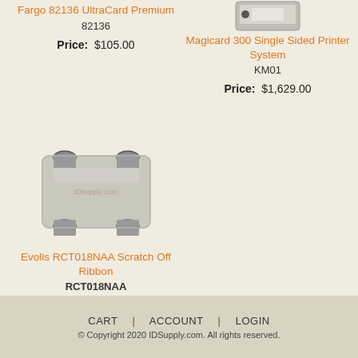Fargo 82136 UltraCard Premium
82136
Price:  $105.00
[Figure (photo): Magicard 300 Single Sided Printer System product photo (partial, top of printer visible)]
Magicard 300 Single Sided Printer System
KM01
Price:  $1,629.00
[Figure (photo): Evolis RCT018NAA Scratch Off Ribbon product photo, silver ribbon cartridge]
Evolis RCT018NAA Scratch Off Ribbon
RCT018NAA
Click to see price
CART   |   ACCOUNT   |   LOGIN
© Copyright 2020 IDSupply.com. All rights reserved.